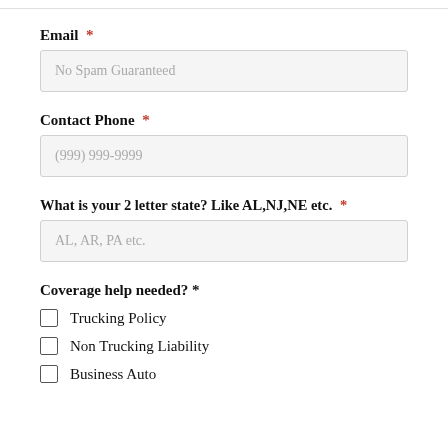Email *
No Spam Guaranteed
Contact Phone *
(999) 999-9999
What is your 2 letter state? Like AL,NJ,NE etc. *
AL, AR, PA etc.
Coverage help needed? *
Trucking Policy
Non Trucking Liability
Business Auto